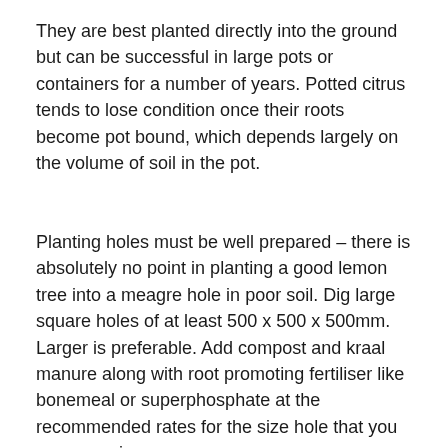They are best planted directly into the ground but can be successful in large pots or containers for a number of years. Potted citrus tends to lose condition once their roots become pot bound, which depends largely on the volume of soil in the pot.
Planting holes must be well prepared – there is absolutely no point in planting a good lemon tree into a meagre hole in poor soil. Dig large square holes of at least 500 x 500 x 500mm. Larger is preferable. Add compost and kraal manure along with root promoting fertiliser like bonemeal or superphosphate at the recommended rates for the size hole that you are preparing.
Make sure that all the ingredients are well incorporated with the garden soil before filling this back into the hole. If the soil is dry then fill the hole with water and allow it to drain away before returning the prepared soil mixture to the hole. This